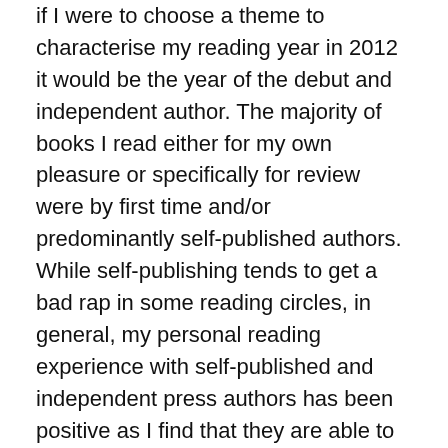if I were to choose a theme to characterise my reading year in 2012 it would be the year of the debut and independent author. The majority of books I read either for my own pleasure or specifically for review were by first time and/or predominantly self-published authors. While self-publishing tends to get a bad rap in some reading circles, in general, my personal reading experience with self-published and independent press authors has been positive as I find that they are able to push creative boundaries not always readily achievable within the realm of more mainstream publishing. Works by several such authors have made the list of my reading best for 2012.
The list also features works by some of my favourite authors that have become staples in my reading life, they include Alex Jeffers, Erik Orrantia and Brandon Shire. Several new-to-me authors such as, Drake Braxton,